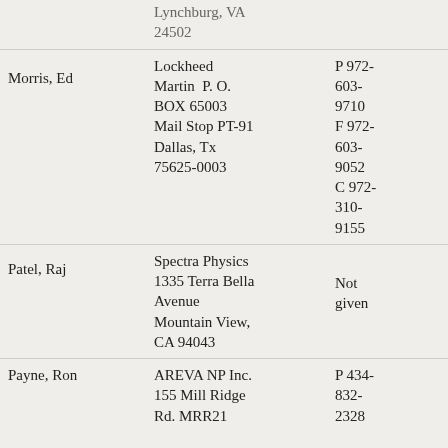| Name | Address | Phone | Email |
| --- | --- | --- | --- |
|  | Lynchburg, VA 24502 |  |  |
| Morris, Ed | Lockheed Martin  P. O. BOX 65003 Mail Stop PT-91 Dallas, Tx 75625-0003 | P 972-603-9710 F 972-603-9052 C 972-310-9155 | ed.morris |
| Patel, Raj | Spectra Physics 1335 Terra Bella Avenue Mountain View, CA 94043 | Not given | Not given |
| Payne, Ron | AREVA NP Inc. 155 Mill Ridge Rd. MRR21 | P 434-832-2328 | ron.payne |